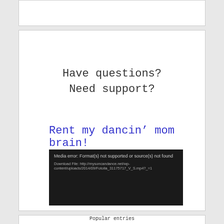Have questions?
Need support?
Rent my dancin’ mom brain!
[Figure (screenshot): Media error box with dark background showing: 'Media error: Format(s) not supported or source(s) not found' and 'Download File: http://mysoncandance.net/wp-content/uploads/2014/09/Fotolia_31175717_V_S.mp4?_=1']
Popular entries